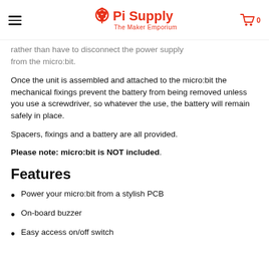Pi Supply — The Maker Emporium
rather than have to disconnect the power supply from the micro:bit.
Once the unit is assembled and attached to the micro:bit the mechanical fixings prevent the battery from being removed unless you use a screwdriver, so whatever the use, the battery will remain safely in place.
Spacers, fixings and a battery are all provided.
Please note: micro:bit is NOT included.
Features
Power your micro:bit from a stylish PCB
On-board buzzer
Easy access on/off switch